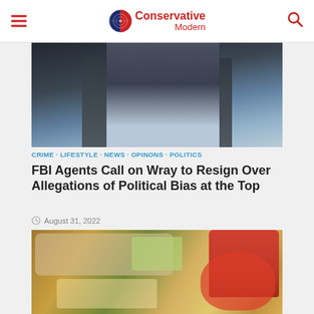Conservative Modern
[Figure (photo): Man in dark suit with blue tie raising his hand, photographed from below against a wooden background]
CRIME • LIFESTYLE • NEWS • OPINONS • POLITICS
FBI Agents Call on Wray to Resign Over Allegations of Political Bias at the Top
August 31, 2022
[Figure (photo): Person reaching for items on a grocery store shelf including Nutella jars]